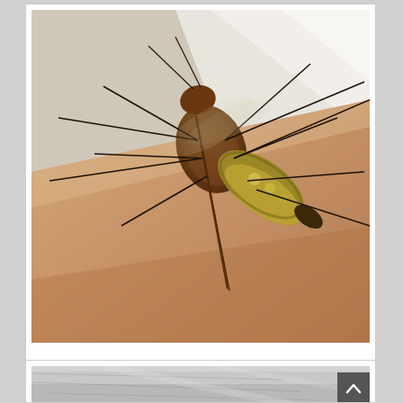[Figure (photo): Close-up macro photograph of a mosquito biting human skin. The mosquito's proboscis is inserted into the skin. The insect has brown and yellowish-green coloring with long thin dark legs. Background shows white/light area and the skin is peach-toned.]
MOSQUITOS
[Figure (photo): Partially visible grayscale photo at the bottom of the page, appears to show a textured surface. A scroll-to-top button (dark square with upward chevron) is visible in the lower right.]